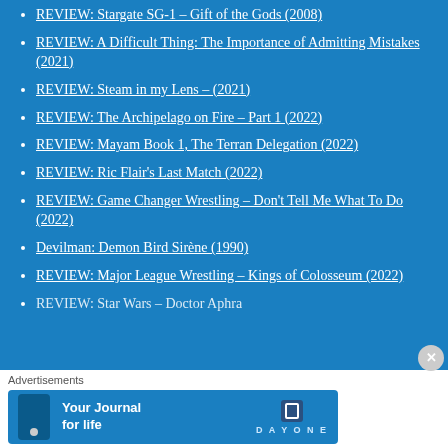REVIEW: Stargate SG-1 – Gift of the Gods (2008)
REVIEW: A Difficult Thing: The Importance of Admitting Mistakes (2021)
REVIEW: Steam in my Lens – (2021)
REVIEW: The Archipelago on Fire – Part 1 (2022)
REVIEW: Mayam Book 1, The Terran Delegation (2022)
REVIEW: Ric Flair's Last Match (2022)
REVIEW: Game Changer Wrestling – Don't Tell Me What To Do (2022)
Devilman: Demon Bird Sirène (1990)
REVIEW: Major League Wrestling – Kings of Colosseum (2022)
REVIEW: Star Wars – Doctor Aphra
Advertisements
[Figure (screenshot): Day One app advertisement banner with text 'Your Journal for life' and Day One logo]